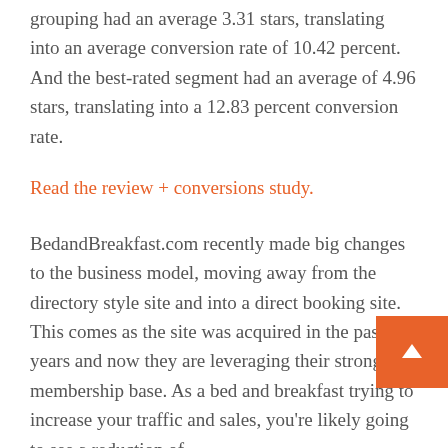grouping had an average 3.31 stars, translating into an average conversion rate of 10.42 percent. And the best-rated segment had an average of 4.96 stars, translating into a 12.83 percent conversion rate.
Read the review + conversions study.
BedandBreakfast.com recently made big changes to the business model, moving away from the directory style site and into a direct booking site. This comes as the site was acquired in the past few years and now they are leveraging their strong membership base. As a bed and breakfast trying to increase your traffic and sales, you're likely going to see a reduction of